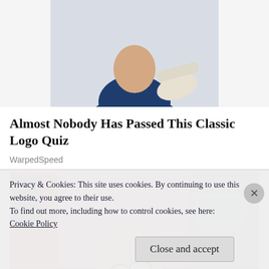[Figure (photo): Person in a dark blue turtleneck sweater carrying a light-colored bag, cropped to show upper body only, against white background]
Almost Nobody Has Passed This Classic Logo Quiz
WarpedSpeed
[Figure (photo): Elderly bald man with white beard and glasses, wearing a brown jacket, leaning over a desk or table in an office or workshop setting with curtains and equipment visible in background]
Privacy & Cookies: This site uses cookies. By continuing to use this website, you agree to their use.
To find out more, including how to control cookies, see here:
Cookie Policy
Close and accept